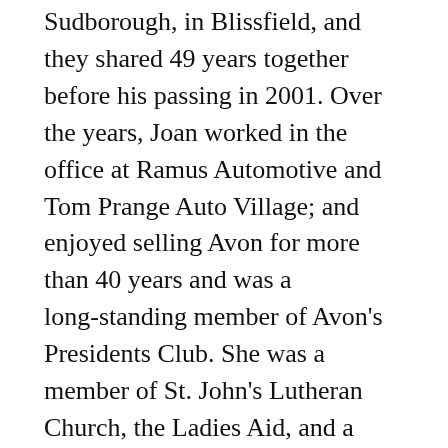Sudborough, in Blissfield, and they shared 49 years together before his passing in 2001. Over the years, Joan worked in the office at Ramus Automotive and Tom Prange Auto Village; and enjoyed selling Avon for more than 40 years and was a long-standing member of Avon's Presidents Club. She was a member of St. John's Lutheran Church, the Ladies Aid, and a volunteer at St. John's Lutheran School. Joan was a Girl Scout Leader when her family was young and worked many years at Dick's Market. She bowled on numerous leagues through Lenawee Rec and had made lasting memories with her friends. Later in life, Joan took on one of her most treasured roles of being a grandma and thoroughly enjoyed the time she spent watching and being a grandma